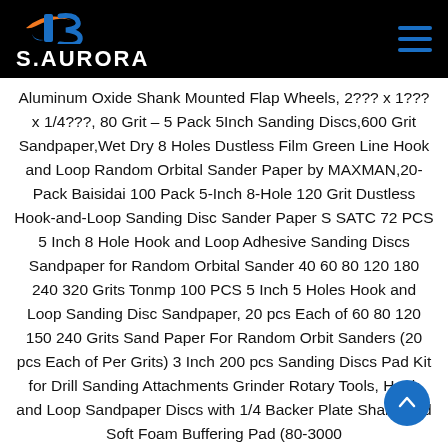S.AURORA
Aluminum Oxide Shank Mounted Flap Wheels, 2??? x 1??? x 1/4???, 80 Grit – 5 Pack 5Inch Sanding Discs,600 Grit Sandpaper,Wet Dry 8 Holes Dustless Film Green Line Hook and Loop Random Orbital Sander Paper by MAXMAN,20-Pack Baisidai 100 Pack 5-Inch 8-Hole 120 Grit Dustless Hook-and-Loop Sanding Disc Sander Paper S SATC 72 PCS 5 Inch 8 Hole Hook and Loop Adhesive Sanding Discs Sandpaper for Random Orbital Sander 40 60 80 120 180 240 320 Grits Tonmp 100 PCS 5 Inch 5 Holes Hook and Loop Sanding Disc Sandpaper, 20 pcs Each of 60 80 120 150 240 Grits Sand Paper For Random Orbit Sanders (20 pcs Each of Per Grits) 3 Inch 200 pcs Sanding Discs Pad Kit for Drill Sanding Attachments Grinder Rotary Tools, Hook and Loop Sandpaper Discs with 1/4 Backer Plate Shank and Soft Foam Buffering Pad (80-3000